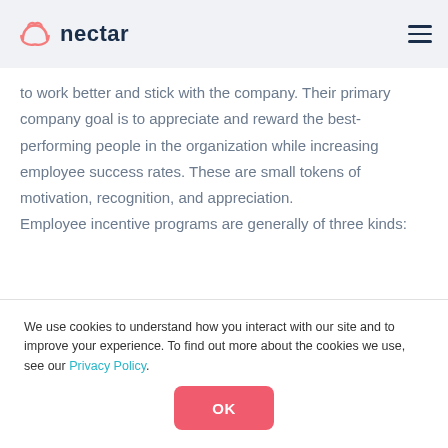nectar
to work better and stick with the company. Their primary company goal is to appreciate and reward the best-performing people in the organization while increasing employee success rates. These are small tokens of motivation, recognition, and appreciation.

Employee incentive programs are generally of three kinds:
We use cookies to understand how you interact with our site and to improve your experience. To find out more about the cookies we use, see our Privacy Policy.